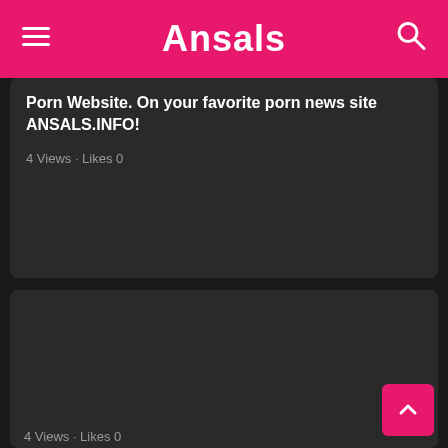Ansals
Porn Website. On your favorite porn news site ANSALS.INFO!
4 Views · Likes 0
[Figure (other): Dark placeholder image area for article card]
Mosul Fucks Her On A Squirrel Well She Begs Him To Finish Faster
View the xxx porn article: Mosul Fucks Her On A Squirrel Well She Begs Him To Finish Faster, Best Porn Website. On your favorite porn news site ANSALS.INFO!
4 Views · Likes 0